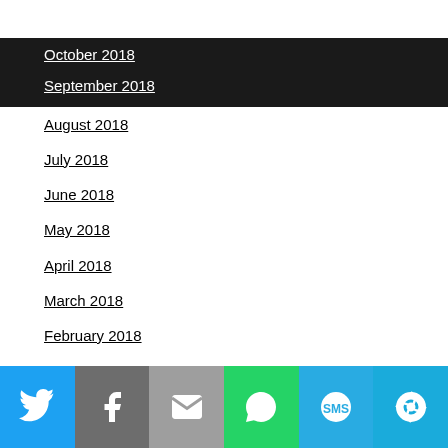Navigation menu header bar
October 2018
September 2018
August 2018
July 2018
June 2018
May 2018
April 2018
March 2018
February 2018
January 2018
December 2017
November 2017
October 2017
September 2017
August 2017
July 2017
June 2017
Social share bar: Twitter, Facebook, Email, WhatsApp, SMS, More